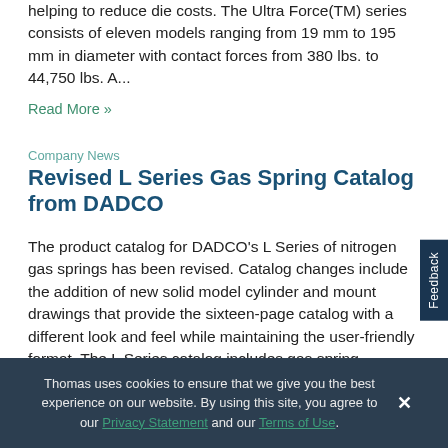helping to reduce die costs. The Ultra Force(TM) series consists of eleven models ranging from 19 mm to 195 mm in diameter with contact forces from 380 lbs. to 44,750 lbs. A...
Read More »
Company News
Revised L Series Gas Spring Catalog from DADCO
The product catalog for DADCO's L Series of nitrogen gas springs has been revised. Catalog changes include the addition of new solid model cylinder and mount drawings that provide the sixteen-page catalog with a different look and feel while maintaining the user-friendly format. The L Series catalog includes gas spring specifications, force
Thomas uses cookies to ensure that we give you the best experience on our website. By using this site, you agree to our Privacy Statement and our Terms of Use.